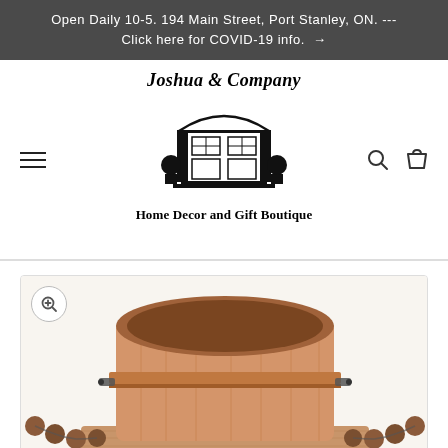Open Daily 10-5. 194 Main Street, Port Stanley, ON. --- Click here for COVID-19 info. →
[Figure (logo): Joshua & Company Home Decor and Gift Boutique logo with illustrated front door, topiary plants, and italic script text]
[Figure (photo): Close-up photo of a wooden bucket or container with brown wooden bead garland trim and metal hardware handles, viewed from above at an angle against a white background]